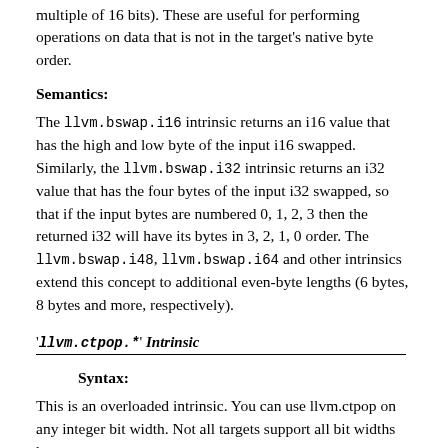multiple of 16 bits). These are useful for performing operations on data that is not in the target's native byte order.
Semantics:
The llvm.bswap.i16 intrinsic returns an i16 value that has the high and low byte of the input i16 swapped. Similarly, the llvm.bswap.i32 intrinsic returns an i32 value that has the four bytes of the input i32 swapped, so that if the input bytes are numbered 0, 1, 2, 3 then the returned i32 will have its bytes in 3, 2, 1, 0 order. The llvm.bswap.i48, llvm.bswap.i64 and other intrinsics extend this concept to additional even-byte lengths (6 bytes, 8 bytes and more, respectively).
'llvm.ctpop.*' Intrinsic
Syntax:
This is an overloaded intrinsic. You can use llvm.ctpop on any integer bit width. Not all targets support all bit widths however.